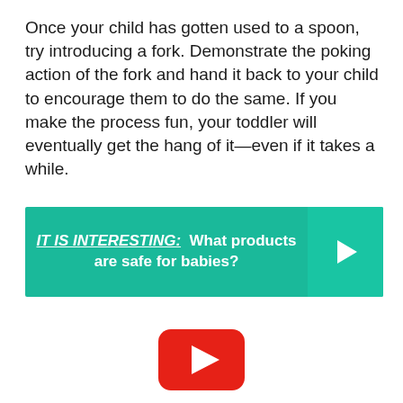Once your child has gotten used to a spoon, try introducing a fork. Demonstrate the poking action of the fork and hand it back to your child to encourage them to do the same. If you make the process fun, your toddler will eventually get the hang of it—even if it takes a while.
[Figure (infographic): Teal banner with text 'IT IS INTERESTING: What products are safe for babies?' and a white arrow chevron on the right side]
[Figure (other): YouTube play button icon — red rounded rectangle with white triangle play symbol]